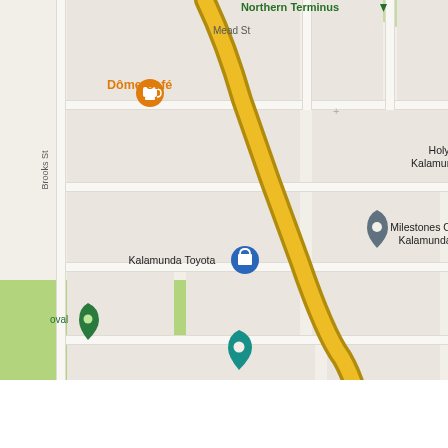[Figure (map): Google Maps screenshot showing Kalamunda area in Western Australia. Features include: Northern Terminus label at top center, Mead St road label, Brooks St vertical road label on left, Dome Cafe with orange location pin, Holy Family Kalamunda Church with cross icon, Milestones OSHC Kalamunda with location pin, Kalamunda Toyota with shopping bag icon, oval green area with green location pin, Kalamunda Performing Arts Centre with teal location pin, Railway Rd vertical road label, Kalamunda Tennis (partially visible) with location pin, City of Kalamunda with building icon, In The H (partially visible) text, Kalamunda Senior High School with graduation cap icon, Kalamunda Water Park with teal location pin, Kalamunda Skate Park with green circle icon, Mundaring We (partially visible) road, Schmitt Rd vertical road label, route 207 road shield. A prominent yellow diagonal road runs through the center of the map. Green park/oval areas visible on left side.]